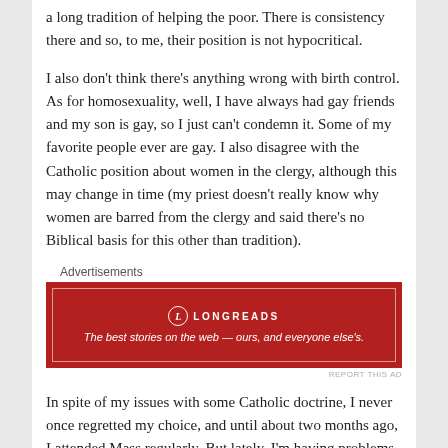a long tradition of helping the poor.   There is consistency there and so, to me, their position is not hypocritical.
I also don't think there's anything wrong with birth control.  As for homosexuality, well, I have always had gay friends and my son is gay, so I just can't condemn it.  Some of my favorite people ever are gay.     I also disagree with the Catholic position about women in the clergy, although this may change in time (my priest doesn't really know why women are barred from the clergy and said there's no Biblical basis for this other than tradition).
Advertisements
[Figure (other): Red advertisement banner for Longreads with white text: 'The best stories on the web — ours, and everyone else's.']
In spite of my issues with some Catholic doctrine, I never once regretted my choice, and until about two months ago, I attended Mass regularly.   But lately, I'm having problems with my faith.   Not Catholicism in particular, but with Christianity in general.   And it's because of the religious